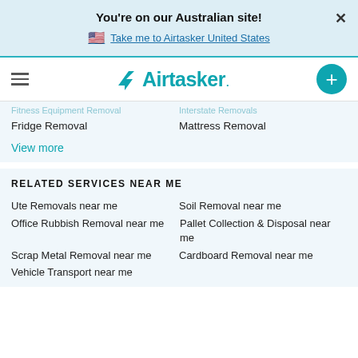You're on our Australian site!
Take me to Airtasker United States
[Figure (logo): Airtasker logo with teal arrow and wordmark]
Fridge Removal
Mattress Removal
View more
RELATED SERVICES NEAR ME
Ute Removals near me
Soil Removal near me
Office Rubbish Removal near me
Pallet Collection & Disposal near me
Scrap Metal Removal near me
Cardboard Removal near me
Vehicle Transport near me